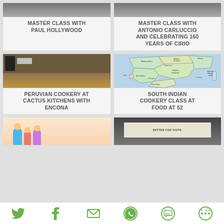[Figure (photo): Master Class with Paul Hollywood - card with photo of kitchen/baking scene and text title]
MASTER CLASS WITH PAUL HOLLYWOOD
[Figure (photo): Master Class with Antonio Carluccio and Celebrating 160 Years of Cirio - card with photo and text title]
MASTER CLASS WITH ANTONIO CARLUCCIO AND CELEBRATING 160 YEARS OF CIRIO
[Figure (photo): Peruvian Cookery at Cactus Kitchens with Encona - card showing person cooking in kitchen with condiment bottles]
PERUVIAN COOKERY AT CACTUS KITCHENS WITH ENCONA
[Figure (map): Map of South India showing states including Maharashtra, Madhya Pradesh, Orissa, Andhra Pradesh, Karnataka, Tamil Nadu, Goa, and Andaman & Nicobar Islands]
SOUTH INDIAN COOKERY CLASS AT FOOD AT 52
[Figure (illustration): Kids cooking illustration - cartoon children cooking]
[Figure (photo): Better for Taste - photo of a card/document]
[Figure (infographic): Social share bar with Twitter, Facebook, Email, WhatsApp, SMS, and More icons]